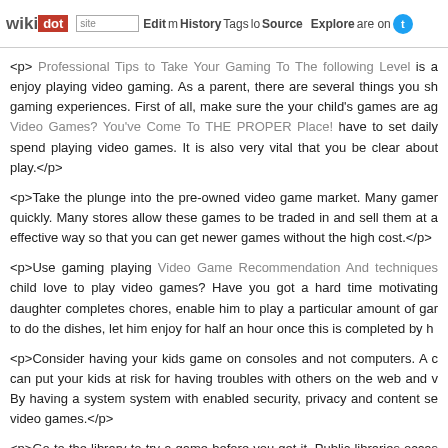wikidot | site | Edit | History | Tags | Source | Explore | Share on Twitter
<p> Professional Tips to Take Your Gaming To The following Level is a enjoy playing video gaming. As a parent, there are several things you should gaming experiences. First of all, make sure the your child's games are ag Video Games? You've Come To THE PROPER Place! have to set daily spend playing video games. It is also very vital that you be clear about play.</p>
<p>Take the plunge into the pre-owned video game market. Many gamer quickly. Many stores allow these games to be traded in and sell them at a effective way so that you can get newer games without the high cost.</p>
<p>Use gaming playing Video Game Recommendation And techniques child love to play video games? Have you got a hard time motivating daughter completes chores, enable him to play a particular amount of gar to do the dishes, let him enjoy for half an hour once this is completed by h
<p>Consider having your kids game on consoles and not computers. A c can put your kids at risk for having troubles with others on the web and v By having a system system with enabled security, privacy and content se video games.</p>
<p>Go to the library to try a game before you get it. Public libraries occas borrow for free. Just call and ask if Easy Steps Right this moment To possession of the game you want; they often have different video games
<p>After reading this article, hopefully you will be able to find some gre prices. Video games could be a fun experience, but you need not brea information provided and spend less overall when you game.</p> - Com